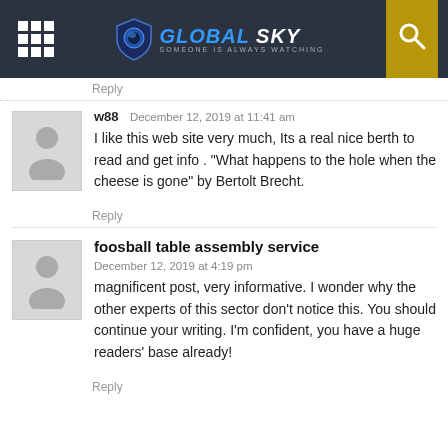[Figure (logo): Global Sky website header with logo, grid icon, and search button]
Reply
w88   December 12, 2019 at 11:41 am
I like this web site very much, Its a real nice berth to read and get info . "What happens to the hole when the cheese is gone" by Bertolt Brecht.
Reply
foosball table assembly service
December 12, 2019 at 4:19 pm
magnificent post, very informative. I wonder why the other experts of this sector don't notice this. You should continue your writing. I'm confident, you have a huge readers' base already!
Reply